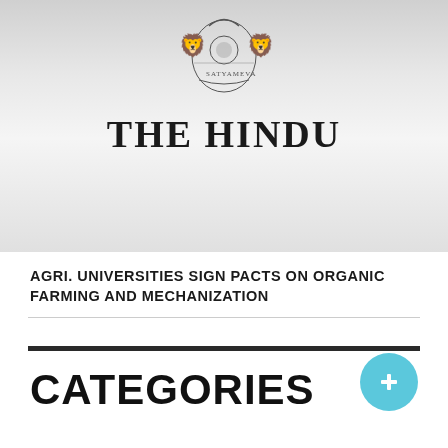[Figure (logo): The Hindu newspaper logo with Indian national emblem at the top and the text 'THE HINDU' in large bold serif font, on a silver/grey gradient background]
AGRI. UNIVERSITIES SIGN PACTS ON ORGANIC FARMING AND MECHANIZATION
CATEGORIES